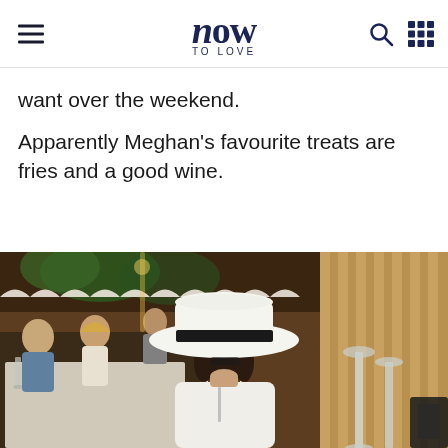now to love
want over the weekend.
Apparently Meghan's favourite treats are fries and a good wine.
[Figure (photo): Woman wearing a white wide-brim fedora hat with a black band, seated at an outdoor restaurant table. She is wearing a white top and looking down. Background shows other diners and a rustic wooden interior.]